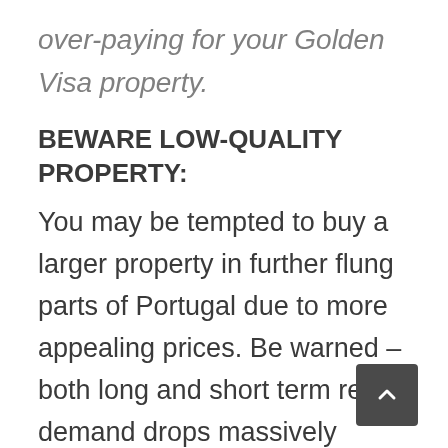over-paying for your Golden Visa property.
BEWARE LOW-QUALITY PROPERTY:
You may be tempted to buy a larger property in further flung parts of Portugal due to more appealing prices. Be warned – both long and short term rental demand drops massively beyond the popular neighborhoods of Lisbon and Porto,